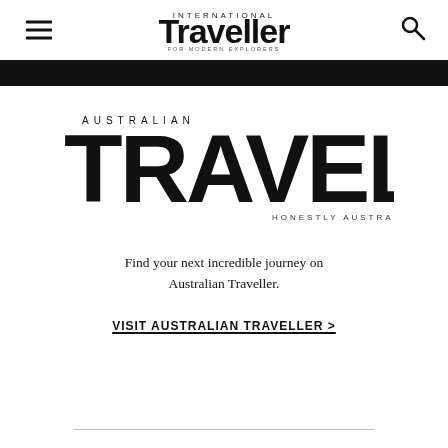International Traveller
[Figure (logo): Australian Traveller magazine logo with 'AUSTRALIAN' in small caps above large bold 'TRAVELLER' and 'HONESTLY AUSTRALIAN' tagline below]
Find your next incredible journey on Australian Traveller.
VISIT AUSTRALIAN TRAVELLER >